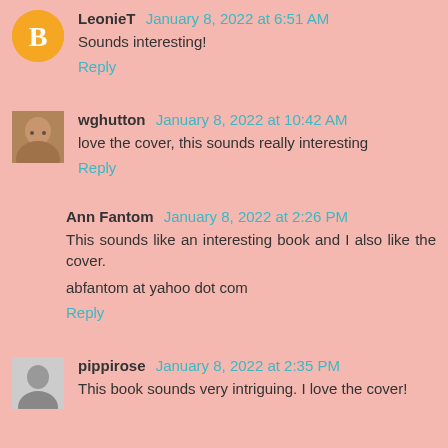LeonieT January 8, 2022 at 6:51 AM
Sounds interesting!
Reply
wghutton January 8, 2022 at 10:42 AM
love the cover, this sounds really interesting
Reply
Ann Fantom January 8, 2022 at 2:26 PM
This sounds like an interesting book and I also like the cover.
abfantom at yahoo dot com
Reply
pippirose January 8, 2022 at 2:35 PM
This book sounds very intriguing. I love the cover!